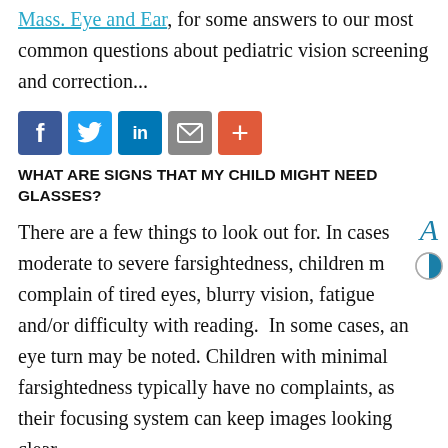Mass. Eye and Ear, for some answers to our most common questions about pediatric vision screening and correction...
[Figure (infographic): Social sharing buttons: Facebook (blue), Twitter (light blue), LinkedIn (blue), Email (gray), More/Plus (orange-red)]
WHAT ARE SIGNS THAT MY CHILD MIGHT NEED GLASSES?
There are a few things to look out for. In cases moderate to severe farsightedness, children m complain of tired eyes, blurry vision, fatigue and/or difficulty with reading. In some cases, an eye turn may be noted. Children with minimal farsightedness typically have no complaints, as their focusing system can keep images looking clear.